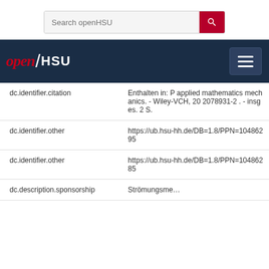[Figure (screenshot): Search bar with 'Search openHSU' placeholder and a red search button with magnifying glass icon]
[Figure (screenshot): openHSU navigation bar with logo on left and hamburger menu button on right, dark navy background]
| Field | Value |
| --- | --- |
| dc.identifier.citation | Enthalten in: P applied mathematics mechanics. - Wiley-VCH, 20 2078931-2 . - insges. 2 S. |
| dc.identifier.other | https://ub.hsu-hh.de/DB=1.8/PPN=10486295 |
| dc.identifier.other | https://ub.hsu-hh.de/DB=1.8/PPN=10486285 |
| dc.description.sponsorship | Strömungsme... |